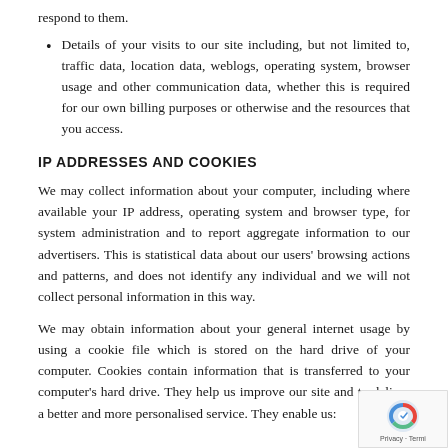respond to them.
Details of your visits to our site including, but not limited to, traffic data, location data, weblogs, operating system, browser usage and other communication data, whether this is required for our own billing purposes or otherwise and the resources that you access.
IP ADDRESSES AND COOKIES
We may collect information about your computer, including where available your IP address, operating system and browser type, for system administration and to report aggregate information to our advertisers. This is statistical data about our users' browsing actions and patterns, and does not identify any individual and we will not collect personal information in this way.
We may obtain information about your general internet usage by using a cookie file which is stored on the hard drive of your computer. Cookies contain information that is transferred to your computer's hard drive. They help us improve our site and to deliver a better and more personalised service. They enable us: